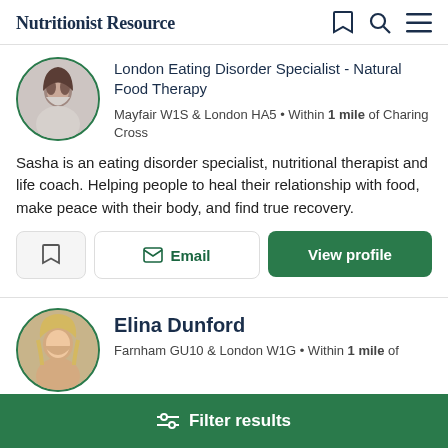Nutritionist Resource
London Eating Disorder Specialist - Natural Food Therapy
Mayfair W1S & London HA5 • Within 1 mile of Charing Cross
Sasha is an eating disorder specialist, nutritional therapist and life coach. Helping people to heal their relationship with food, make peace with their body, and find true recovery.
Elina Dunford
Farnham GU10 & London W1G • Within 1 mile of
Filter results